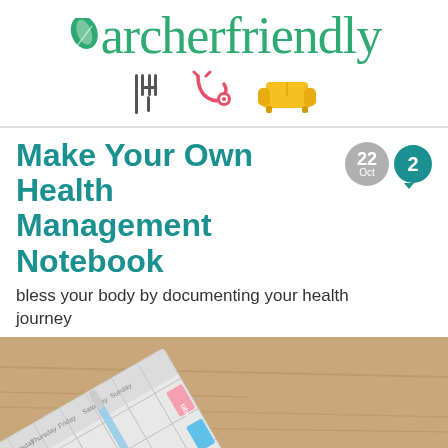archerfriendly
[Figure (illustration): Three icons: fork and knife (food), stethoscope (medical), sofa (lifestyle) representing the website's categories]
Make Your Own Health Management Notebook
bless your body by documenting your health journey
[Figure (photo): A health management notebook/planner on a wooden table with colorful sticky tab dividers (pink, blue, orange) and a pen, viewed from above at an angle]